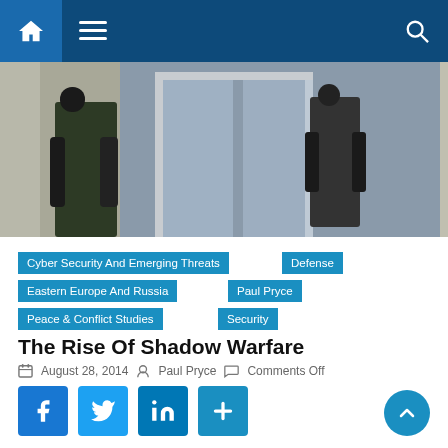Navigation bar with home, menu, and search icons
[Figure (photo): Military or security personnel in tactical gear near a glass building entrance]
Cyber Security And Emerging Threats
Defense
Eastern Europe And Russia
Paul Pryce
Peace & Conflict Studies
Security
The Rise Of Shadow Warfare
August 28, 2014  Paul Pryce  Comments Off
[Figure (screenshot): Social media sharing buttons: Facebook, Twitter, LinkedIn, Share]
Reflecting on the events of the year to date in Ukraine, the ongoing conflict seems surreal. With its ‘humanitarian’ convoy of nearly empty trucks and the sightings of ‘little green men’ this past year, the conflict is contrary